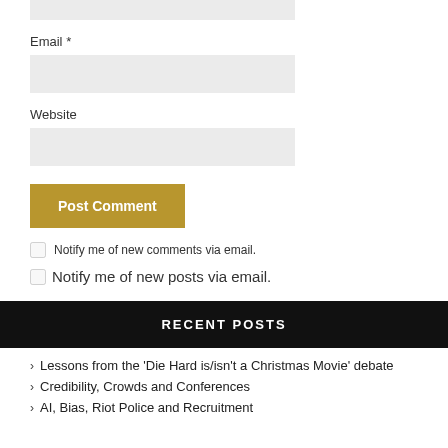Email *
Website
Post Comment
Notify me of new comments via email.
Notify me of new posts via email.
RECENT POSTS
Lessons from the ‘Die Hard is/isn’t a Christmas Movie’ debate
Credibility, Crowds and Conferences
AI, Bias, Riot Police and Recruitment